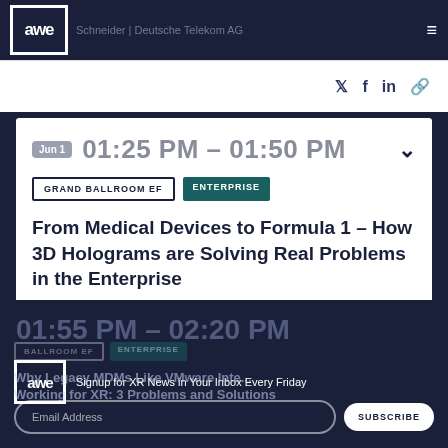awe | Schneider | Deutsche Telekom AG
Jun 1   01:25 PM – 01:50 PM
GRAND BALLROOM EF   ENTERPRISE
From Medical Devices to Formula 1 – How 3D Holograms are Solving Real Problems in the Enterprise
Elizabeth Bieniek | Cisco
Signup for XR News in Your Inbox Every Friday
Email Address   SUBSCRIBE
Why Legacy MDMs Like VMware Inte... Working for XR: 3 Problems and Solutions